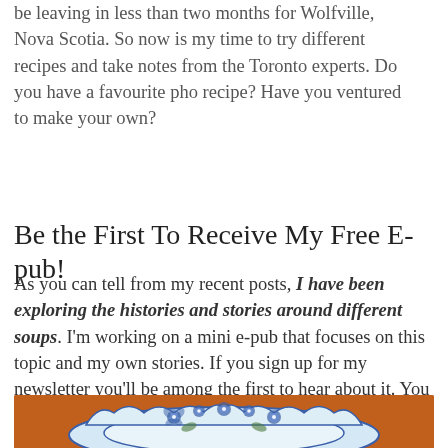be leaving in less than two months for Wolfville, Nova Scotia. So now is my time to try different recipes and take notes from the Toronto experts. Do you have a favourite pho recipe? Have you ventured to make your own?
Be the First To Receive My Free E-pub!
As you can tell from my recent posts, I have been exploring the histories and stories around different soups. I'm working on a mini e-pub that focuses on this topic and my own stories. If you sign up for my newsletter you'll be among the first to hear about it. You can sign up below or here.
[Figure (photo): A blue and white floral patterned bowl/plate on an orange background]